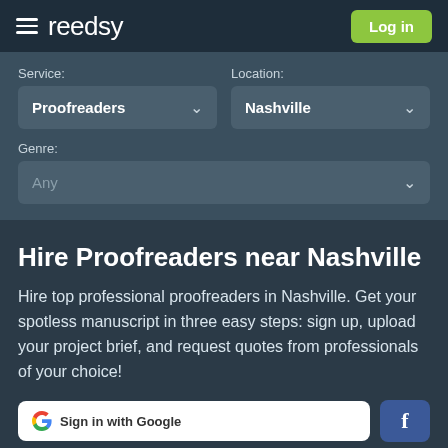reedsy | Log in
Service: Proofreaders  Location: Nashville  Genre: Any
Hire Proofreaders near Nashville
Hire top professional proofreaders in Nashville. Get your spotless manuscript in three easy steps: sign up, upload your project brief, and request quotes from professionals of your choice!
Sign in with Google